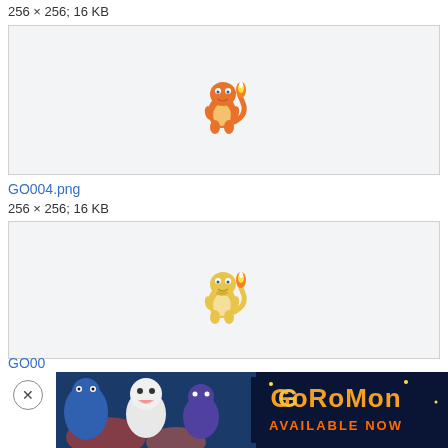256 × 256; 16 KB
[Figure (illustration): Charmander Pokemon GO sprite, small orange lizard with flame tail, centered in light gray box]
GO004.png
256 × 256; 16 KB
[Figure (illustration): Charmander shiny variant Pokemon GO sprite, yellowish lizard with flame tail, centered in light gray box, partially overlapped by Coromon ad banner]
GO00
[Figure (screenshot): Coromon 'Available Now' advertisement banner showing colorful monster creatures on dark background with orange and yellow Coromon logo text]